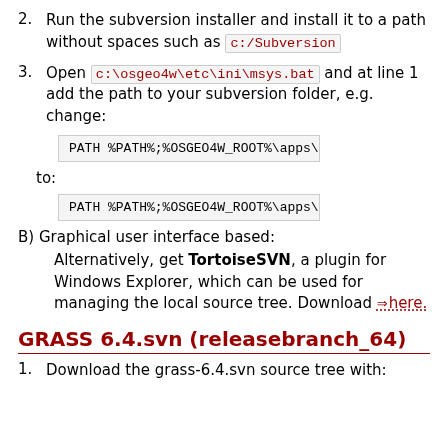2. Run the subversion installer and install it to a path without spaces such as c:/Subversion
3. Open c:\osgeo4w\etc\ini\msys.bat and at line 1 add the path to your subversion folder, e.g. change:
PATH %PATH%;%OSGEO4W_ROOT%\apps\msy (code block 1)
to:
PATH %PATH%;%OSGEO4W_ROOT%\apps\msy (code block 2)
B) Graphical user interface based:
Alternatively, get TortoiseSVN, a plugin for Windows Explorer, which can be used for managing the local source tree. Download here.
GRASS 6.4.svn (releasebranch_64)
1. Download the grass-6.4.svn source tree with: